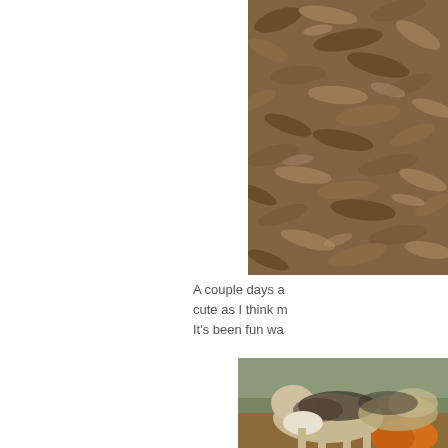[Figure (photo): Close-up photo of dried brown leaves or bark texture filling the upper right area of the page]
A couple days a cute as I think m It’s been fun wa
[Figure (photo): Photo of goats or animals with tan and black-brown fur near an orange pumpkin, outdoors with trees in background]